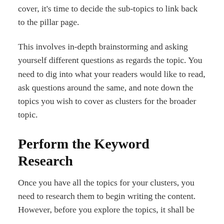cover, it's time to decide the sub-topics to link back to the pillar page.
This involves in-depth brainstorming and asking yourself different questions as regards the topic. You need to dig into what your readers would like to read, ask questions around the same, and note down the topics you wish to cover as clusters for the broader topic.
Perform the Keyword Research
Once you have all the topics for your clusters, you need to research them to begin writing the content. However, before you explore the topics, it shall be